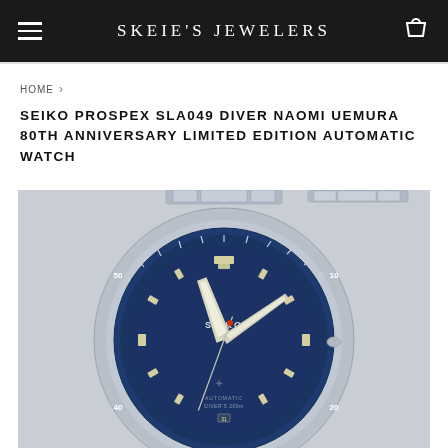SKEIE'S JEWELERS
HOME ›
SEIKO PROSPEX SLA049 DIVER NAOMI UEMURA 80TH ANNIVERSARY LIMITED EDITION AUTOMATIC WATCH
[Figure (photo): Product photo of the Seiko Prospex SLA049 diver watch with blue bezel, blue dial, and stainless steel bracelet on a light grey background. The watch face shows SEIKO branding, AUTOMATIC and DIVER'S 200m text, and luminous markers.]